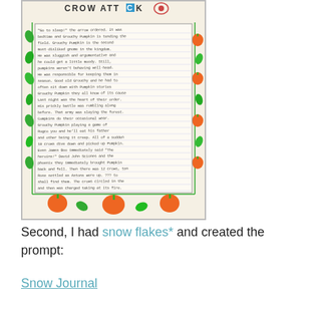[Figure (photo): A child's handwritten story titled 'CROW ATTACK' on decorative paper with colorful border featuring leaves, pumpkins, and vines. The text is written in pencil/pen on lined paper inside the decorated border.]
Second, I had snow flakes* and created the prompt:
Snow Journal